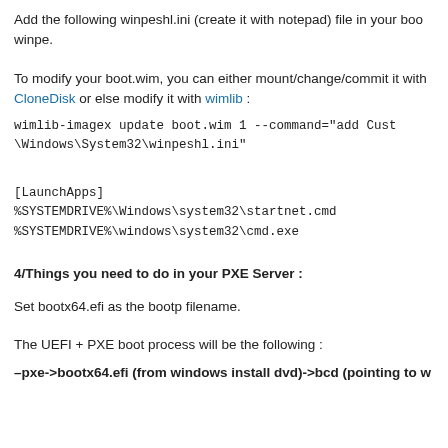Add the following winpeshl.ini (create it with notepad) file in your boo winpe.
To modify your boot.wim, you can either mount/change/commit it with CloneDisk or else modify it with wimlib :
wimlib-imagex update boot.wim 1 --command="add Cust \Windows\System32\winpeshl.ini"
[LaunchApps]
%SYSTEMDRIVE%\Windows\system32\startnet.cmd
%SYSTEMDRIVE%\windows\system32\cmd.exe
4/Things you need to do in your PXE Server :
Set bootx64.efi as the bootp filename.
The UEFI + PXE boot process will be the following :
–pxe->bootx64.efi (from windows install dvd)->bcd (pointing to w